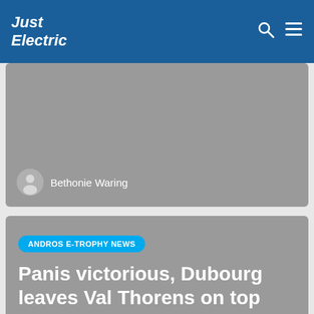Just Electric
[Figure (photo): Grey placeholder image card with author profile. Author name: Bethonie Waring. Grey circular avatar icon shown.]
Bethonie Waring
ANDROS E-TROPHY NEWS
Panis victorious, Dubourg leaves Val Thorens on top